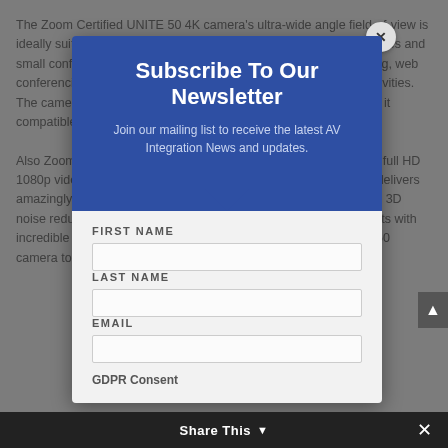The Zoom Certified UNITE 50 4K camera's ultra-wide angle field-of-view is ideally suited for visual communications, collaboration, huddle spaces and small conference rooms designed for PC-based video conferencing, web conferencing, unified communications, and other collaboration activities. The camera is also USB Video Class (UVC) 1.1 compliant making it compatible with many solutions available in the market.
Also Zoom Certified is the ClearOne UNITE 150 PTZ camera with full HD 1080p video resolution, compatible with USB 2.0 and USB 3.0. It delivers amazingly sharp images with super-high SNR and advanced 2D & 3D noise reduction. The 12x optical zoom provides close-ups of objects with incredible clarity and the 70° wide-angle view allows the UNITE 150 camera to capture all participants in the meeting room.
Subscribe To Our Newsletter
Join our mailing list to receive the latest AV Integration News and updates.
FIRST NAME
LAST NAME
EMAIL
GDPR Consent
Share This